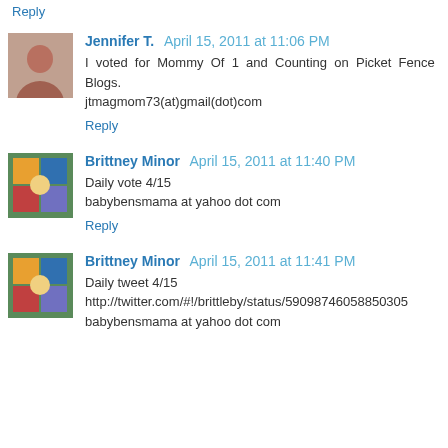Reply
Jennifer T.  April 15, 2011 at 11:06 PM
I voted for Mommy Of 1 and Counting on Picket Fence Blogs.
jtmagmom73(at)gmail(dot)com
Reply
Brittney Minor  April 15, 2011 at 11:40 PM
Daily vote 4/15
babybensmama at yahoo dot com
Reply
Brittney Minor  April 15, 2011 at 11:41 PM
Daily tweet 4/15
http://twitter.com/#!/brittleby/status/59098746058850305
babybensmama at yahoo dot com